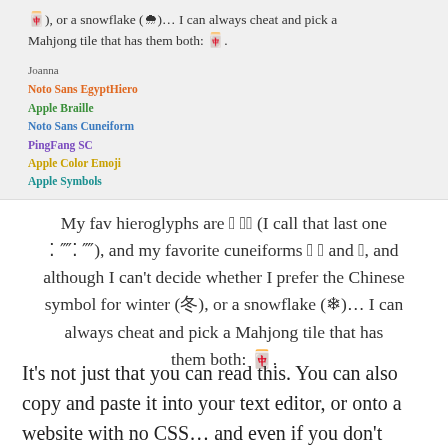[Figure (screenshot): Screenshot of a webpage/app showing text about hieroglyphs and a list of font names in various colors: Joanna (grey), Noto Sans EgyptHiero (orange), Apple Braille (green), Noto Sans Cuneiform (blue), PingFang SC (purple), Apple Color Emoji (yellow/gold), Apple Symbols (teal)]
My fav hieroglyphs are 𓂀 𓂉𓃭 (I call that last one ⁚ ⁗⁚ ⁗), and my favorite cuneiforms 𒀭 𒆳 and 𒌋, and although I can't decide whether I prefer the Chinese symbol for winter (冬), or a snowflake (❄)... I can always cheat and pick a Mahjong tile that has them both: 🀄.
It's not just that you can read this. You can also copy and paste it into your text editor, or onto a website with no CSS... and even if you don't